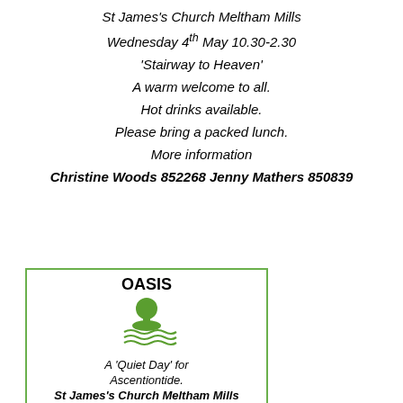St James's Church Meltham Mills
Wednesday 4th May 10.30-2.30
'Stairway to Heaven'
A warm welcome to all.
Hot drinks available.
Please bring a packed lunch.
More information
Christine Woods 852268 Jenny Mathers 850839
[Figure (logo): OASIS logo with green tree/bush on an island with wavy water lines beneath]
OASIS
A 'Quiet Day' for Ascentiontide.
St James's Church Meltham Mills
Wednesday 4th May 10.30-2.30